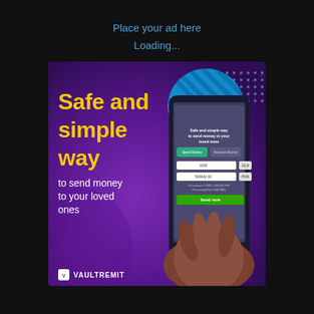Place your ad here
Loading...
[Figure (photo): VaultRemit advertisement banner showing a hand holding a smartphone with the app open. Text reads 'Safe and simple way to send money to your loved ones' in yellow and white on a purple/violet gradient background. Blue striped decorative circle and dot pattern in top right. VaultRemit logo at bottom left.]